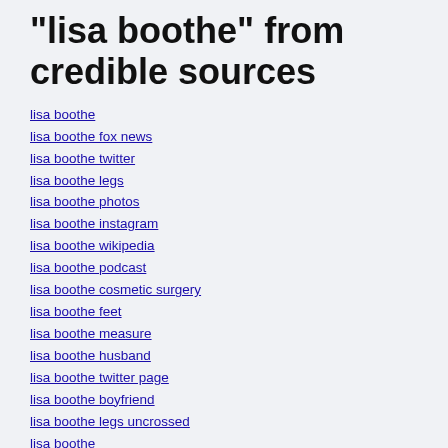"lisa boothe" from credible sources
lisa boothe
lisa boothe fox news
lisa boothe twitter
lisa boothe legs
lisa boothe photos
lisa boothe instagram
lisa boothe wikipedia
lisa boothe podcast
lisa boothe cosmetic surgery
lisa boothe feet
lisa boothe measure
lisa boothe husband
lisa boothe twitter page
lisa boothe boyfriend
lisa boothe legs uncrossed
lisa boothe